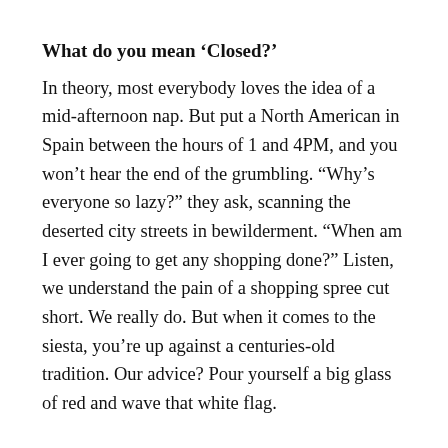What do you mean ‘Closed?’
In theory, most everybody loves the idea of a mid-afternoon nap. But put a North American in Spain between the hours of 1 and 4PM, and you won’t hear the end of the grumbling. “Why’s everyone so lazy?” they ask, scanning the deserted city streets in bewilderment. “When am I ever going to get any shopping done?” Listen, we understand the pain of a shopping spree cut short. We really do. But when it comes to the siesta, you’re up against a centuries-old tradition. Our advice? Pour yourself a big glass of red and wave that white flag.